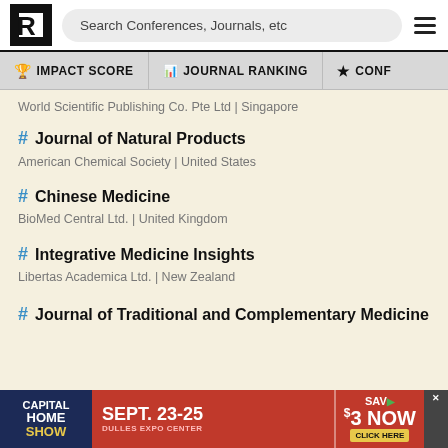Search Conferences, Journals, etc
IMPACT SCORE | JOURNAL RANKING | CONF
World Scientific Publishing Co. Pte Ltd | Singapore
# Journal of Natural Products
American Chemical Society | United States
# Chinese Medicine
BioMed Central Ltd. | United Kingdom
# Integrative Medicine Insights
Libertas Academica Ltd. | New Zealand
# Journal of Traditional and Complementary Medicine
[Figure (infographic): Capital Home Show advertisement banner: SEPT. 23-25 DULLES EXPO CENTER, SAV $3 NOW CLICK HERE]